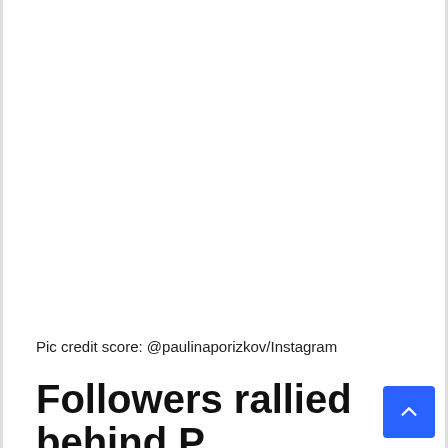[Figure (photo): Large white/blank image area at the top of the page (photo content not visible in this crop)]
Pic credit score: @paulinaporizkov/Instagram
Followers rallied behind Paulina after